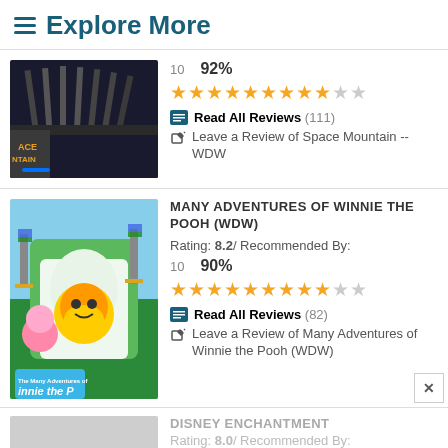Explore More
[Figure (photo): Space Mountain ride entrance at night with striped roof and neon sign]
10   92%
★★★★★★★★★☆☆
Read All Reviews (111)
Leave a Review of Space Mountain -- WDW
[Figure (photo): Many Adventures of Winnie the Pooh ride exterior with Pooh and Piglet characters, castle in background with flags]
MANY ADVENTURES OF WINNIE THE POOH (WDW)
Rating: 8.2 / Recommended By:
10   90%
★★★★★★★★★☆☆
Read All Reviews (82)
Leave a Review of Many Adventures of Winnie the Pooh (WDW)
[Figure (photo): Partially visible Disney Enchantment listing photo (greyed out)]
DISNEY ENCHANTMENT
Rating: 8.0 / Recommended By: